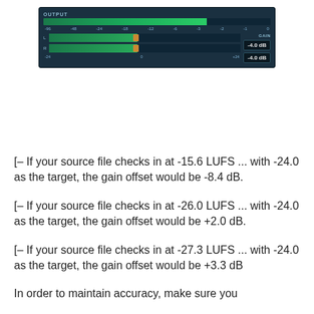[Figure (screenshot): Audio plugin output meter UI showing OUTPUT label, stereo meter bars with scale from -96 to 0, two channel faders with orange markers positioned around -12, and GAIN display boxes showing -4.0 dB for both channels]
[– If your source file checks in at -15.6 LUFS ... with -24.0 as the target, the gain offset would be -8.4 dB.
[– If your source file checks in at -26.0 LUFS ... with -24.0 as the target, the gain offset would be +2.0 dB.
[– If your source file checks in at -27.3 LUFS ... with -24.0 as the target, the gain offset would be +3.3 dB
In order to maintain accuracy, make sure you